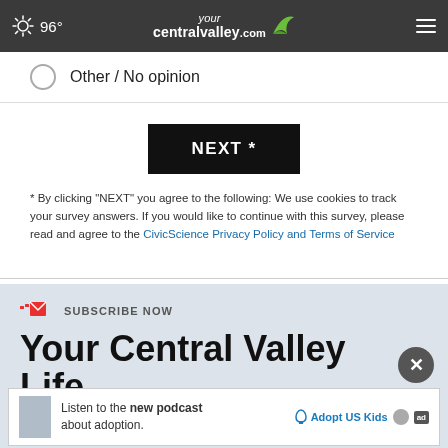96° yourcentralvalley.com
Other / No opinion
[Figure (other): NEXT button — black rectangular button with white bold text 'NEXT *']
* By clicking "NEXT" you agree to the following: We use cookies to track your survey answers. If you would like to continue with this survey, please read and agree to the CivicScience Privacy Policy and Terms of Service
SUBSCRIBE NOW
Your Central Valley Life
[Figure (infographic): Ad banner: Listen to the new podcast about adoption. Adopt US Kids logo and ad badge.]